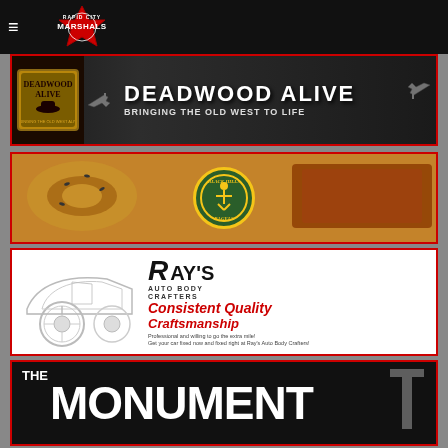Rapid City Marshals — navigation bar
[Figure (logo): Deadwood Alive banner — bringing the old west to life]
[Figure (logo): Black Hills Bagels banner with food photography background]
[Figure (logo): Ray's Auto Body Crafters — Consistent Quality Craftsmanship]
[Figure (logo): The Monument logo — large white text on black background]